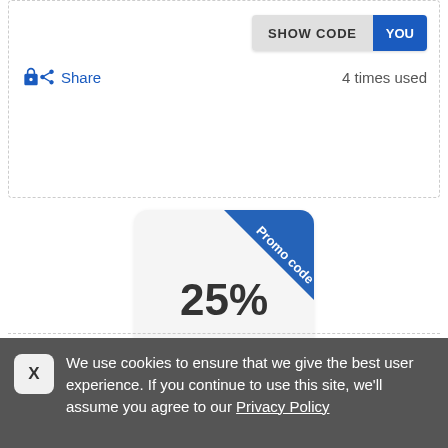[Figure (screenshot): SHOW CODE button with gray and blue sections, showing 'SHOW CODE' in gray and 'YOU' in blue]
Share   4 times used
[Figure (infographic): Promo code badge showing 25% with blue diagonal ribbon labeled 'Promo code' in top right corner]
JW PEI promo codes
We use cookies to ensure that we give the best user experience. If you continue to use this site, we'll assume you agree to our Privacy Policy